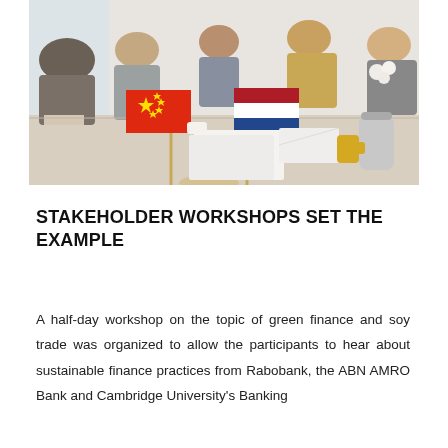[Figure (photo): A meeting table with Chinese and Dutch flags in the foreground. Several people sit around the table reviewing documents. A stainless steel thermos and yellow cup are visible on the right side.]
STAKEHOLDER WORKSHOPS SET THE EXAMPLE
A half-day workshop on the topic of green finance and soy trade was organized to allow the participants to hear about sustainable finance practices from Rabobank, the ABN AMRO Bank and Cambridge University's Banking